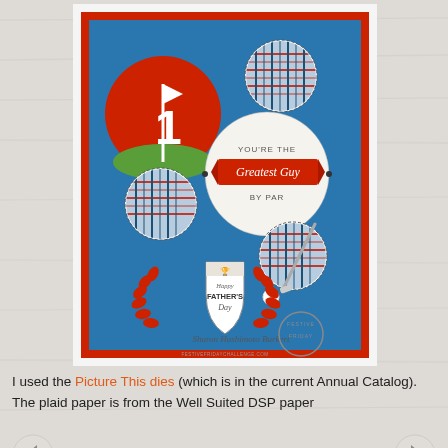[Figure (photo): A handmade Father's Day golf-themed greeting card on a blue background with red and white accents. Features circular die-cut windows showing plaid paper, a red circle with a golf flag numbered '1', a white circle with 'YOU'RE THE Greatest Guy BY PAR' text, a 'Happy Father's Day' shield emblem with red laurels, and golf club and ball embellishments. Signed by Sharon Hashimoto Burkert with a 'Festive Friday' stamp.]
I used the Picture This dies (which is in the current Annual Catalog). The plaid paper is from the Well Suited DSP paper